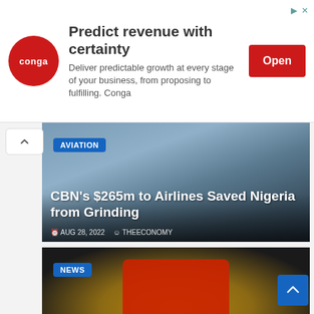[Figure (infographic): Advertisement banner for Conga with red circle logo, headline 'Predict revenue with certainty', body text 'Deliver predictable growth at every stage of your business, from proposing to fulfilling. Conga', and red Open button. Ad icons top right.]
[Figure (photo): News article card with airport building image. Category badge: AVIATION. Headline: CBN's $265m to Airlines Saved Nigeria from Grinding. Date: AUG 28, 2022. Author: THEECONOMY.]
[Figure (photo): News article card with Ohanaeze emblem image (gold/black emblem with red figure). Category badge: NEWS. Headline: Peter Obi Is Now A National Project — Ohanaeze. Date: AUG 28, 2022. Author: THEECONOMY.]